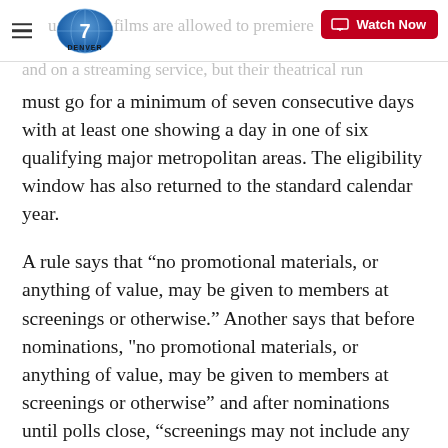Denver7 – Watch Now
qualifying films are allowed to premiere and on a streaming service, but their theatrical run must go for a minimum of seven consecutive days with at least one showing a day in one of six qualifying major metropolitan areas. The eligibility window has also returned to the standard calendar year.
A rule says that “no promotional materials, or anything of value, may be given to members at screenings or otherwise.” Another says that before nominations, "no promotional materials, or anything of value, may be given to members at screenings or otherwise” and after nominations until polls close, “screenings may not include any receptions, entertainment, complimentary food and beverage, or other hospitality.”